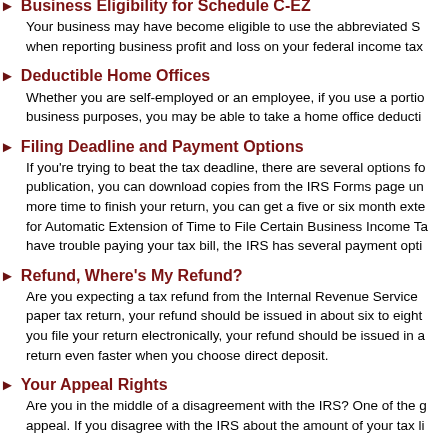Business Eligibility for Schedule C-EZ
Your business may have become eligible to use the abbreviated Schedule when reporting business profit and loss on your federal income tax...
Deductible Home Offices
Whether you are self-employed or an employee, if you use a portion of your home for business purposes, you may be able to take a home office deduction...
Filing Deadline and Payment Options
If you're trying to beat the tax deadline, there are several options for... publication, you can download copies from the IRS Forms page under... more time to finish your return, you can get a five or six month extension... for Automatic Extension of Time to File Certain Business Income Tax... have trouble paying your tax bill, the IRS has several payment options...
Refund, Where's My Refund?
Are you expecting a tax refund from the Internal Revenue Service... paper tax return, your refund should be issued in about six to eight... you file your return electronically, your refund should be issued in a... return even faster when you choose direct deposit.
Your Appeal Rights
Are you in the middle of a disagreement with the IRS? One of the greatest... appeal. If you disagree with the IRS about the amount of your tax liability...